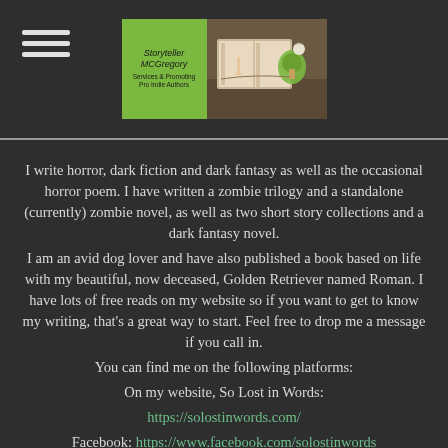Storyteller MCGregory — Services & Promoting Pro Indie Authors
I write horror, dark fiction and dark fantasy as well as the occasional horror poem. I have written a zombie trilogy and a standalone (currently) zombie novel, as well as two short story collections and a dark fantasy novel.
I am an avid dog lover and have also published a book based on life with my beautiful, now deceased, Golden Retriever named Roman. I have lots of free reads on my website so if you want to get to know my writing, that's a great way to start. Feel free to drop me a message if you call in.
You can find me on the following platforms:
On my website, So Lost in Words:
https://solostinwords.com/
Facebook: https://www.facebook.com/solostinwords
Amazon author page: